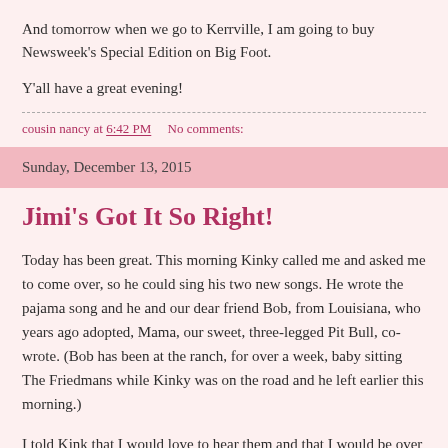And tomorrow when we go to Kerrville, I am going to buy Newsweek's Special Edition on Big Foot.
Y'all have a great evening!
cousin nancy at 6:42 PM    No comments:
Sunday, December 13, 2015
Jimi's Got It So Right!
Today has been great. This morning Kinky called me and asked me to come over, so he could sing his two new songs. He wrote the pajama song and he and our dear friend Bob, from Louisiana, who years ago adopted, Mama, our sweet, three-legged Pit Bull, co-wrote. (Bob has been at the ranch, for over a week, baby sitting The Friedmans while Kinky was on the road and he left earlier this morning.)
I told Kink that I would love to hear them and that I would be over